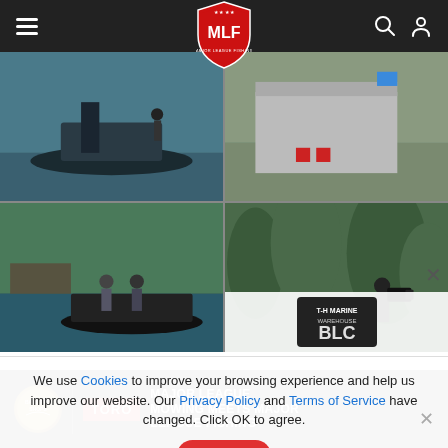MLF Major League Fishing navigation bar
[Figure (screenshot): Four-panel photo grid: top-left shows a bass fishing boat on a lake, top-right shows a lakeside building with chairs and an MLF banner, bottom-left shows anglers on a boat near a dock with trees, bottom-right shows a cameraman filming outdoors near trees.]
[Figure (logo): T-H Marine Warehouse partial logo overlay on bottom-right photo panel]
We use Cookies to improve your browsing experience and help us improve our website. Our Privacy Policy and Terms of Service have changed. Click OK to agree.
[Figure (other): OK button (red rounded rectangle)]
[Figure (infographic): Bottom advertisement banner: Bass Pro Shops logo, TORO logo, text reading MAJOR LEAGUE MOWING MEETS MAJOR LEAGUE FISHING]